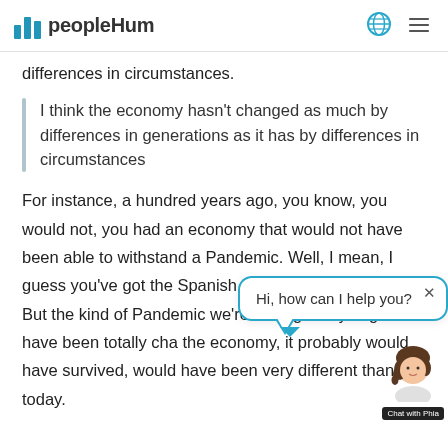peopleHum
differences in circumstances.
I think the economy hasn't changed as much by differences in generations as it has by differences in circumstances
For instance, a hundred years ago, you know, you would not, you had an economy that would not have been able to withstand a Pandemic. Well, I mean, I guess you've got the Spanish... beginning of the 1900s. But the kind of Pandemic we're having today might have been totally cha... the economy, it probably would have survived, it would have been very different than it is today.
[Figure (screenshot): Chat widget overlay showing 'Hi, how can I help you?' message bubble with close button, avatar of woman with curly hair, and 'Chat with Phia' label]